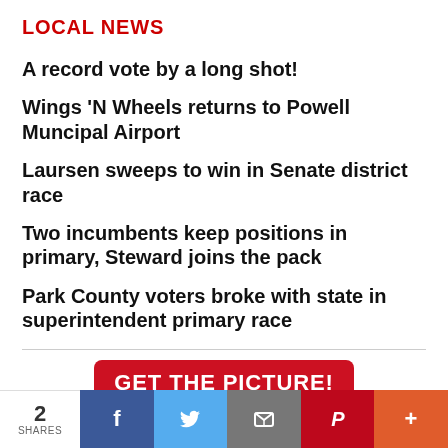LOCAL NEWS
A record vote by a long shot!
Wings 'N Wheels returns to Powell Muncipal Airport
Laursen sweeps to win in Senate district race
Two incumbents keep positions in primary, Steward joins the pack
Park County voters broke with state in superintendent primary race
[Figure (infographic): GET THE PICTURE! banner in red with thumbnail photos below]
2 SHARES | Facebook | Twitter | Email | Pinterest | More